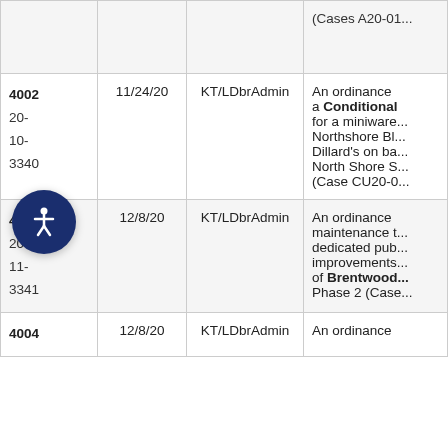| Ordinance | Date | Admin | Description |
| --- | --- | --- | --- |
|  |  |  | (Cases A20-01... |
| 4002
20-
10-
3340 | 11/24/20 | KT/LDbrAdmin | An ordinance a Conditional for a miniware Northshore Bl Dillard's on ba North Shore S (Case CU20-0... |
| 4003
20-
11-
3341 | 12/8/20 | KT/LDbrAdmin | An ordinance maintenance t dedicated pub improvements of Brentwood Phase 2 (Case... |
| 4004 | 12/8/20 | KT/LDbrAdmin | An ordinance |